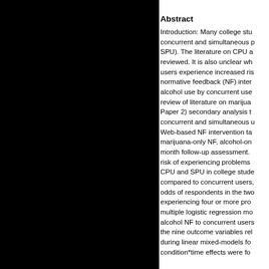Abstract
Introduction: Many college stu... concurrent and simultaneous p... SPU). The literature on CPU a... reviewed. It is also unclear wh... users experience increased ris... normative feedback (NF) inter... alcohol use by concurrent use... review of literature on marijua... Paper 2) secondary analysis t... concurrent and simultaneous u... Web-based NF intervention ta... marijuana-only NF, alcohol-on... month follow-up assessment. ... risk of experiencing problems ... CPU and SPU in college stude... compared to concurrent users,... odds of respondents in the tw... experiencing four or more pro... multiple logistic regression mo... alcohol NF to concurrent users... the nine outcome variables rel... during linear mixed-models fo... condition*time effects were fo...